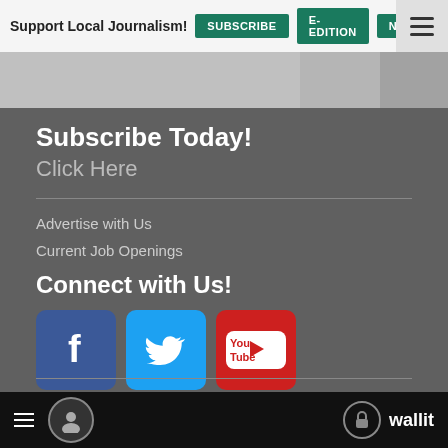[Figure (screenshot): Top navigation banner with 'Support Local Journalism!' text and SUBSCRIBE, E-EDITION, NEWSLET buttons on teal background, hamburger menu icon, and partial portrait photo below]
Subscribe Today!
Click Here
Advertise with Us
Current Job Openings
Connect with Us!
[Figure (logo): Social media icons: Facebook (blue), Twitter (light blue), YouTube (red)]
© 2022 lin Media Group | All rights reserved | 6605 SE Lake Rd, Portland, OR 97222 | 503-
[Figure (screenshot): Bottom navigation bar with hamburger menu, profile circle icon on left, lock circle and wallit text on right]